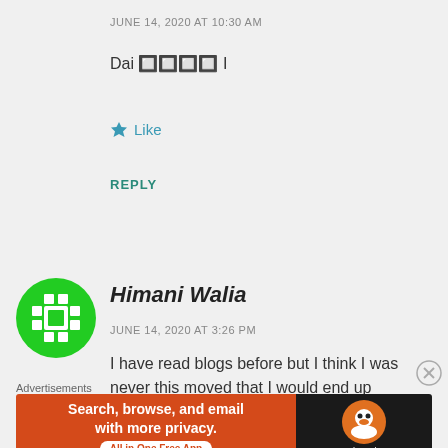JUNE 14, 2020 AT 10:30 AM
Dai 🀱🀲🀳🀴 I
★ Like
REPLY
[Figure (logo): Green pixelated/chunky plus-sign avatar icon for Himani Walia]
Himani Walia
JUNE 14, 2020 AT 3:26 PM
I have read blogs before but I think I was never this moved that I would end up leaving a
Advertisements
[Figure (screenshot): DuckDuckGo advertisement banner: orange left side with text 'Search, browse, and email with more privacy. All in One Free App' and dark right side with DuckDuckGo logo]